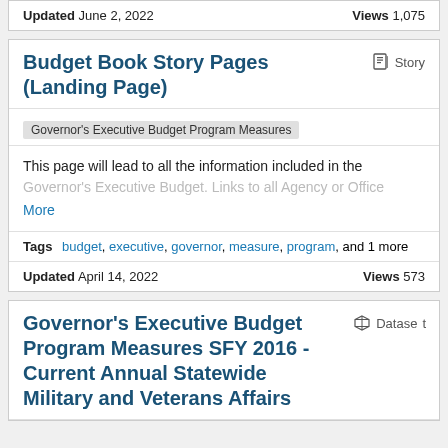Updated June 2, 2022    Views 1,075
Budget Book Story Pages (Landing Page)
Story
Governor's Executive Budget Program Measures
This page will lead to all the information included in the Governor's Executive Budget. Links to all Agency or Office More
Tags  budget, executive, governor, measure, program, and 1 more
Updated April 14, 2022    Views 573
Governor's Executive Budget Program Measures SFY 2016 - Current Annual Statewide Military and Veterans Affairs
Dataset